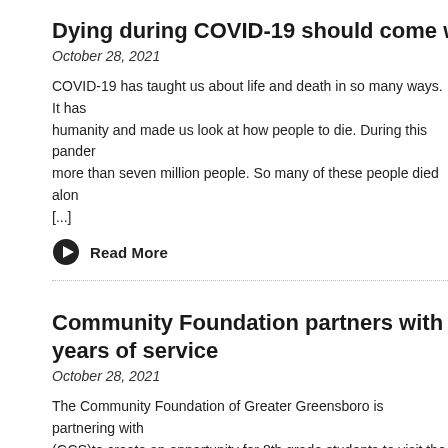Dying during COVID-19 should come with resp
October 28, 2021
COVID-19 has taught us about life and death in so many ways. It has humanity and made us look at how people to die. During this pander more than seven million people. So many of these people died alon [...]
Read More
Community Foundation partners with GCS to h years of service
October 28, 2021
The Community Foundation of Greater Greensboro is partnering with (GCS)to create an opportunity for 8th grade students to visit the Stev Performing Arts (STCPA) through a service-learning project groundeo service to the community. In 2019, former and current Community Fou Greensboro (CFGG) [...]